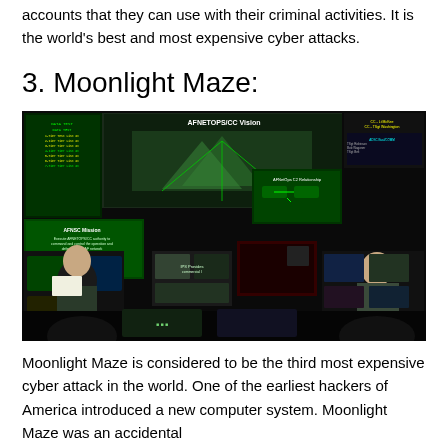accounts that they can use with their criminal activities. It is the world's best and most expensive cyber attacks.
3. Moonlight Maze:
[Figure (photo): Military personnel working at a command center with multiple computer monitors and large display screens showing AFNETOPS/CC Vision and other operational data.]
Moonlight Maze is considered to be the third most expensive cyber attack in the world. One of the earliest hackers of America introduced a new computer system. Moonlight Maze was an accidental